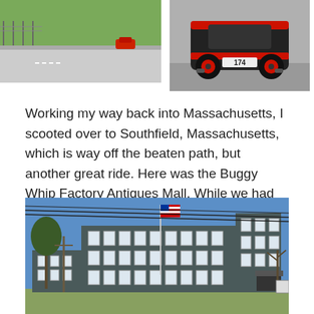[Figure (photo): A red sports car on a race track viewed from above/behind, green grass and track surface visible]
[Figure (photo): A black and red supercar (number 174) viewed from behind on pavement]
Working my way back into Massachusetts, I scooted over to Southfield, Massachusetts, which is way off the beaten path, but another great ride. Here was the Buggy Whip Factory Antiques Mall. While we had our shop in New Preston, CT (less than an hour south) I displayed books here, and made lots and lots of money.
[Figure (photo): A large grey historic multi-story building (Buggy Whip Factory Antiques Mall) with an American flag on a pole in front, bare trees, blue sky]